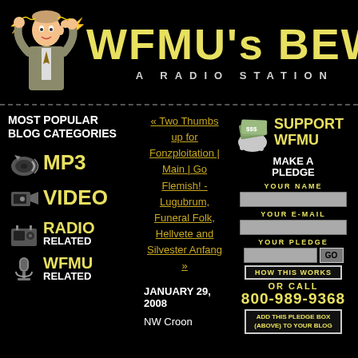[Figure (illustration): WFMU radio station header with cartoon mascot man and yellow text logo]
WFMU's BEW
A RADIO STATION
MOST POPULAR BLOG CATEGORIES
MP3
VIDEO
RADIO RELATED
WFMU RELATED
« Two Thumbs up for Fonzploitation | Main | Go Flemish! - Lugubrum, Funeral Folk, Hellvete and Silvester Anfang »
JANUARY 29, 2008
NW Croon
SUPPORT WFMU MAKE A PLEDGE
YOUR NAME
YOUR E-MAIL
YOUR PLEDGE
HOW THIS WORKS
OR CALL
800-989-9368
ADD THIS PLEDGE BOX (ABOVE) TO YOUR BLOG